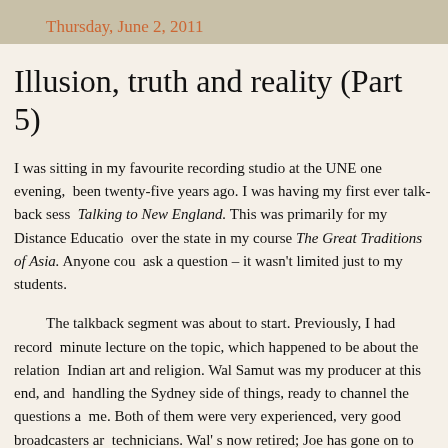Thursday, June 2, 2011
Illusion, truth and reality (Part 5)
I was sitting in my favourite recording studio at the UNE one evening, been twenty-five years ago. I was having my first ever talk-back sess Talking to New England. This was primarily for my Distance Educatio over the state in my course The Great Traditions of Asia. Anyone cou ask a question – it wasn't limited just to my students.
The talkback segment was about to start. Previously, I had record minute lecture on the topic, which happened to be about the relation Indian art and religion. Wal Samut was my producer at this end, and handling the Sydney side of things, ready to channel the questions a me. Both of them were very experienced, very good broadcasters ar technicians. Wal' s now retired; Joe has gone on to greater things wi
I sat there, listening to the taped broadcast go out. It was going we Bonfield had taught me the ropes in the olden days in Brisbane. I ha of lectures in the UNE studios since then (we posted them out to the cassette tapes). Then came the moment of truth, though I didn't rea